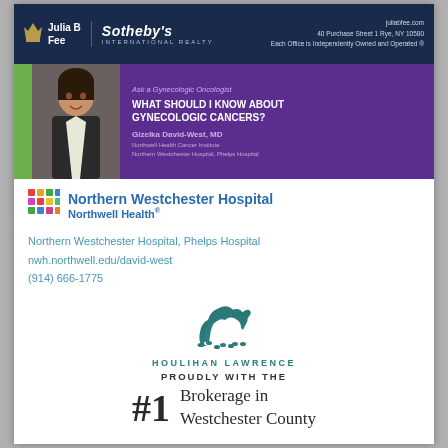[Figure (logo): Julia B Fee Sotheby's International Realty banner with logo, address 40 Purchase Street 1 Rye, NY 10580, juliabfee.com]
[Figure (photo): Northern Westchester Hospital Northwell Health ad. Purple background with doctor photo. Text: Ask a Gynecologic Oncologist - WHAT SHOULD I KNOW ABOUT GYNECOLOGIC CANCERS? Gizelka David-West, MD, Northwell Health Cancer Institute, Northern Westchester Hospital, Phelps Hospital]
[Figure (logo): Northern Westchester Hospital Northwell Health logo with colorful squares]
Northern Westchester Hospital, Phelps Hospital
nwh.northwell.edu/david-west
(914) 666-1775
[Figure (logo): Houlihan Lawrence logo with horse icon]
PROUDLY WITH THE
#1 Brokerage in Westchester County